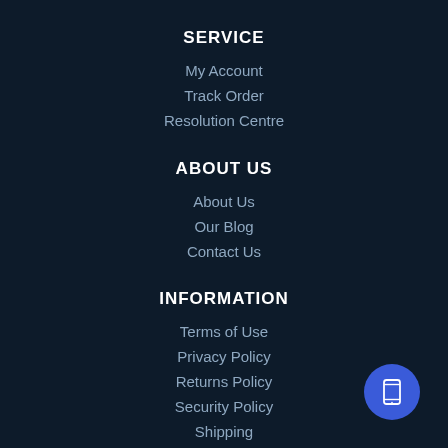SERVICE
My Account
Track Order
Resolution Centre
ABOUT US
About Us
Our Blog
Contact Us
INFORMATION
Terms of Use
Privacy Policy
Returns Policy
Security Policy
Shipping
[Figure (illustration): Blue circular floating action button with a mobile phone icon in the bottom-right corner]